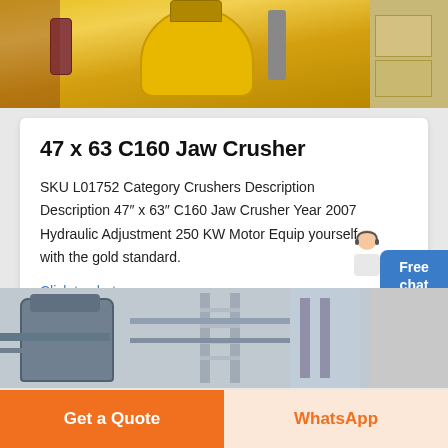[Figure (photo): Yellow jaw crusher machinery equipment photo at the top of the page]
47 x 63 C160 Jaw Crusher
SKU L01752 Category Crushers Description Description 47″ x 63″ C160 Jaw Crusher Year 2007 Hydraulic Adjustment 250 KW Motor Equip yourself with the gold standard.
Click to chat
[Figure (photo): Industrial equipment facility photo showing tanks and metal stairways in blue-grey tones]
Get a Quote
WhatsApp